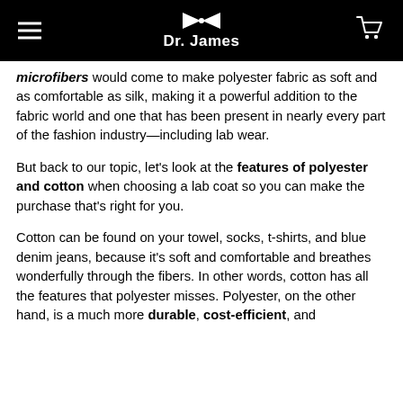Dr. James
microfibers would come to make polyester fabric as soft and as comfortable as silk, making it a powerful addition to the fabric world and one that has been present in nearly every part of the fashion industry—including lab wear.
But back to our topic, let's look at the features of polyester and cotton when choosing a lab coat so you can make the purchase that's right for you.
Cotton can be found on your towel, socks, t-shirts, and blue denim jeans, because it's soft and comfortable and breathes wonderfully through the fibers. In other words, cotton has all the features that polyester misses. Polyester, on the other hand, is a much more durable, cost-efficient, and chemically resistant material.